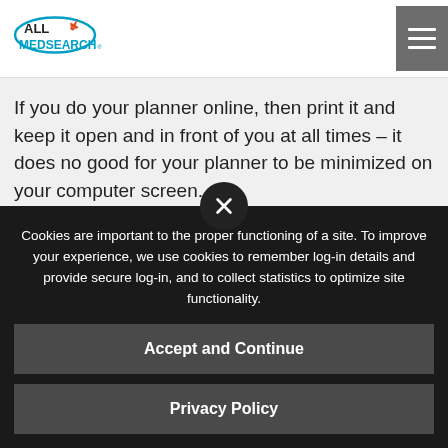ALL MEDSEARCH
If you do your planner online, then print it and keep it open and in front of you at all times – it does no good for your planner to be minimized on your computer screen.
Allocate each task on an urgency basis
Cookies are important to the proper functioning of a site. To improve your experience, we use cookies to remember log-in details and provide secure log-in, and to collect statistics to optimize site functionality.
Accept and Continue
Privacy Policy